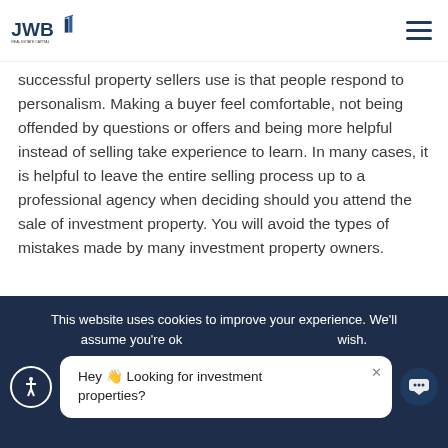JWB Real Estate Capital
successful property sellers use is that people respond to personalism. Making a buyer feel comfortable, not being offended by questions or offers and being more helpful instead of selling take experience to learn. In many cases, it is helpful to leave the entire selling process up to a professional agency when deciding should you attend the sale of investment property. You will avoid the types of mistakes made by many investment property owners.
This website uses cookies to improve your experience. We'll assume you're ok with this, but you can opt-out if you wish. Hey 👋 Looking for investment properties? ×